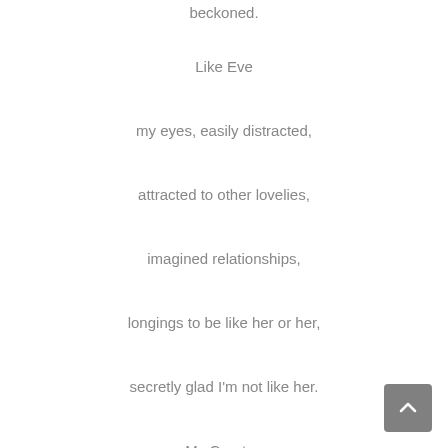beckoned.
Like Eve
my eyes, easily distracted,
attracted to other lovelies,
imagined relationships,
longings to be like her or her,
secretly glad I'm not like her.
My Creator,
my Abba Father,
You make no mistakes,